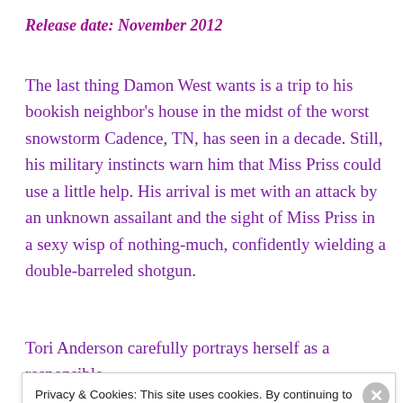Release date: November 2012
The last thing Damon West wants is a trip to his bookish neighbor's house in the midst of the worst snowstorm Cadence, TN, has seen in a decade. Still, his military instincts warn him that Miss Priss could use a little help. His arrival is met with an attack by an unknown assailant and the sight of Miss Priss in a sexy wisp of nothing-much, confidently wielding a double-barreled shotgun.
Tori Anderson carefully portrays herself as a responsible
Privacy & Cookies: This site uses cookies. By continuing to use this website, you agree to their use.
To find out more, including how to control cookies, see here: Cookie Policy
Close and accept